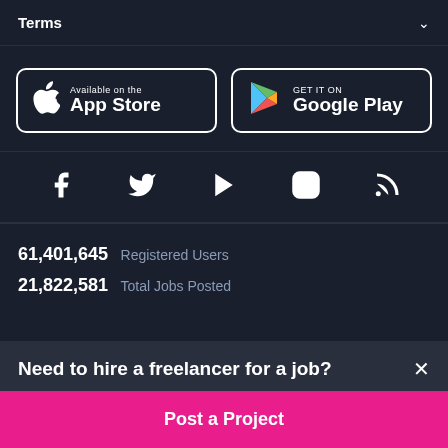Terms
[Figure (other): App Store and Google Play download buttons side by side]
[Figure (other): Social media icons row: Facebook, Twitter, YouTube, Instagram, RSS]
61,401,645  Registered Users
21,822,581  Total Jobs Posted
Need to hire a freelancer for a job?
Post a Project